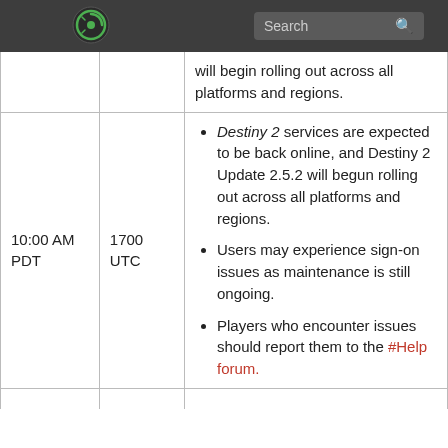Search
|  |  | will begin rolling out across all platforms and regions. |
| 10:00 AM PDT | 1700 UTC | • Destiny 2 services are expected to be back online, and Destiny 2 Update 2.5.2 will begun rolling out across all platforms and regions.
• Users may experience sign-on issues as maintenance is still ongoing.
• Players who encounter issues should report them to the #Help forum. |